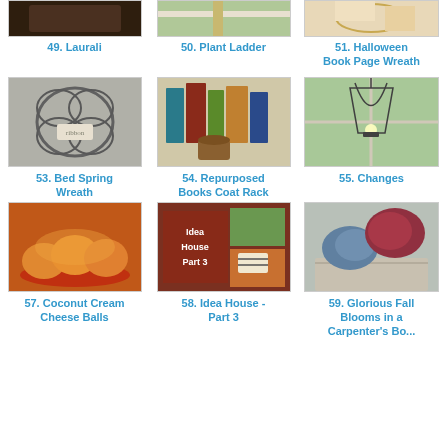[Figure (photo): Item 49 Laurali - dark brown food item photo]
49. Laurali
[Figure (photo): Item 50 Plant Ladder - outdoor plant display]
50. Plant Ladder
[Figure (photo): Item 51 Halloween Book Page Wreath - hands holding wreath]
51. Halloween Book Page Wreath
[Figure (photo): Item 53 Bed Spring Wreath - metal springs wreath with ribbon]
53. Bed Spring Wreath
[Figure (photo): Item 54 Repurposed Books Coat Rack - colorful book spines with basket]
54. Repurposed Books Coat Rack
[Figure (photo): Item 55 Changes - wire pendant lamp outside window]
55. Changes
[Figure (photo): Item 57 Coconut Cream Cheese Balls - orange food balls on plate]
57. Coconut Cream Cheese Balls
[Figure (photo): Item 58 Idea House Part 3 - text graphic with plants and striped pot]
58. Idea House - Part 3
[Figure (photo): Item 59 Glorious Fall Blooms in a Carpenter's Box - blue and red flowers in wood box]
59. Glorious Fall Blooms in a Carpenter's Box